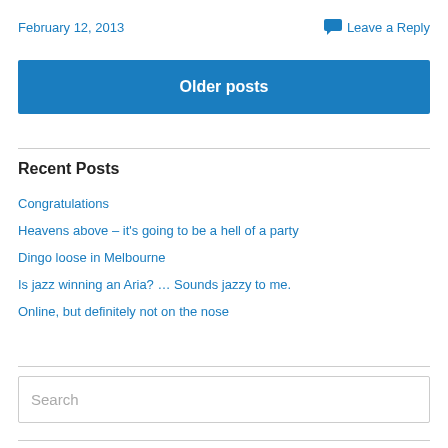February 12, 2013
Leave a Reply
Older posts
Recent Posts
Congratulations
Heavens above – it's going to be a hell of a party
Dingo loose in Melbourne
Is jazz winning an Aria? … Sounds jazzy to me.
Online, but definitely not on the nose
Search